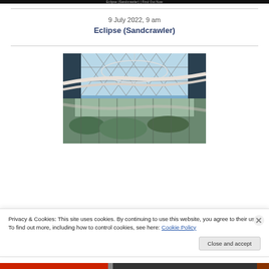Eclipse (Sandcrawler) | Find Out Now
9 July 2022, 9 am
Eclipse (Sandcrawler)
[Figure (photo): Interior architectural photo of the Sandcrawler building showing a glass lattice skylight roof, curving white structural beams/walkways, and greenery visible below]
Privacy & Cookies: This site uses cookies. By continuing to use this website, you agree to their use.
To find out more, including how to control cookies, see here: Cookie Policy